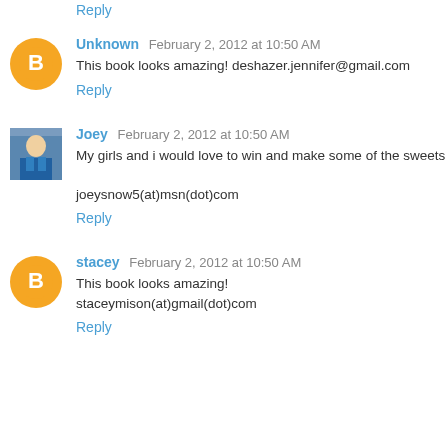Reply
Unknown  February 2, 2012 at 10:50 AM
This book looks amazing! deshazer.jennifer@gmail.com
Reply
Joey  February 2, 2012 at 10:50 AM
My girls and i would love to win and make some of the sweets

joeysnow5(at)msn(dot)com
Reply
stacey  February 2, 2012 at 10:50 AM
This book looks amazing!
staceymison(at)gmail(dot)com
Reply